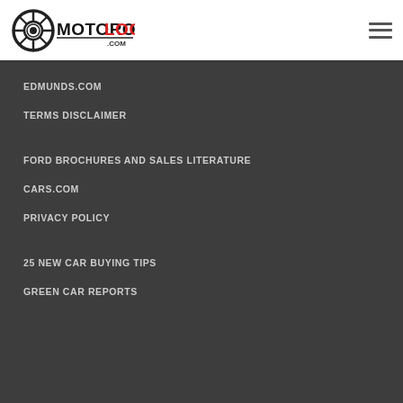[Figure (logo): Motorologist.com logo with wheel icon and bold text, MOTORO in black and LOGIST in red]
EDMUNDS.COM
TERMS DISCLAIMER
FORD BROCHURES AND SALES LITERATURE
CARS.COM
PRIVACY POLICY
25 NEW CAR BUYING TIPS
GREEN CAR REPORTS